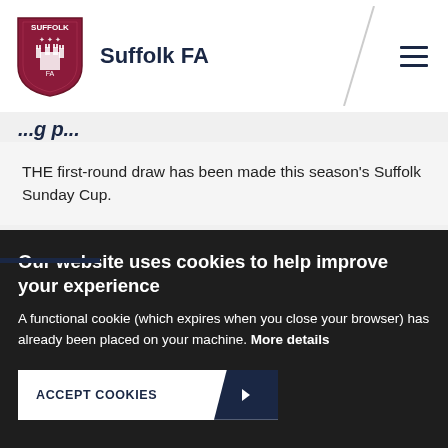Suffolk FA
THE first-round draw has been made this season's Suffolk Sunday Cup.
Our website uses cookies to help improve your experience
A functional cookie (which expires when you close your browser) has already been placed on your machine. More details
ACCEPT COOKIES